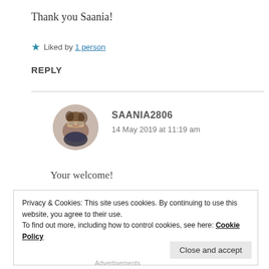Thank you Saania!
★ Liked by 1 person
REPLY
[Figure (photo): Circular avatar photo of a young woman with long hair and glasses, smiling.]
SAANIA2806
14 May 2019 at 11:19 am
Your welcome!
Privacy & Cookies: This site uses cookies. By continuing to use this website, you agree to their use.
To find out more, including how to control cookies, see here: Cookie Policy
Close and accept
Advertisements